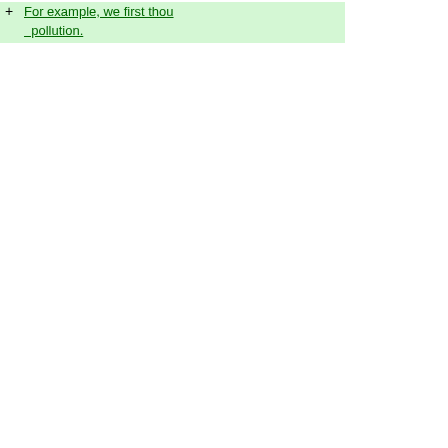For example, we first thou... pollution.
but in the end, we reache...
We made extra sure that b...
The major materials we us...
* Ethidium Bromide (EtBr)... exposed to UV.  However,
to intercalate DNA and de... disposal.  We wore gloves... be incinerated.
* Ultra Violet machine---U... to causing direct and indir... is especially harmful to ey... not to over expose oursel...
* Autoclave---Used to ster...
works at high temperature... and over again that we all...